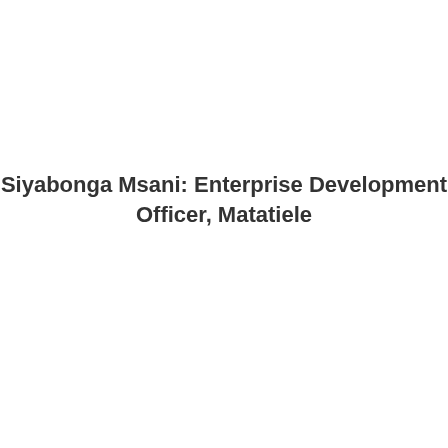Siyabonga Msani: Enterprise Development Officer, Matatiele